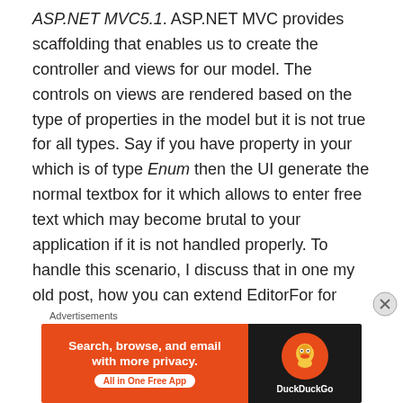ASP.NET MVC5.1. ASP.NET MVC provides scaffolding that enables us to create the controller and views for our model. The controls on views are rendered based on the type of properties in the model but it is not true for all types. Say if you have property in your which is of type Enum then the UI generate the normal textbox for it which allows to enter free text which may become brutal to your application if it is not handled properly. To handle this scenario, I discuss that in one my old post, how you can extend EditorFor for custom type. You can refer the link
[Figure (other): DuckDuckGo advertisement banner with orange left panel saying 'Search, browse, and email with more privacy. All in One Free App' and dark right panel with DuckDuckGo logo]